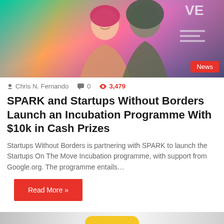[Figure (photo): Colorized photo of two women with pink/green/purple color overlay, article header image with 'News' badge]
Chris N. Fernando  0  3,479
SPARK and Startups Without Borders Launch an Incubation Programme With $10k in Cash Prizes
Startups Without Borders is partnering with SPARK to launch the Startups On The Move Incubation programme, with support from Google.org. The programme entails…
Read More »
[Figure (photo): Partial image of a yellow/gold object, possibly a product or device, with gray background, article thumbnail]